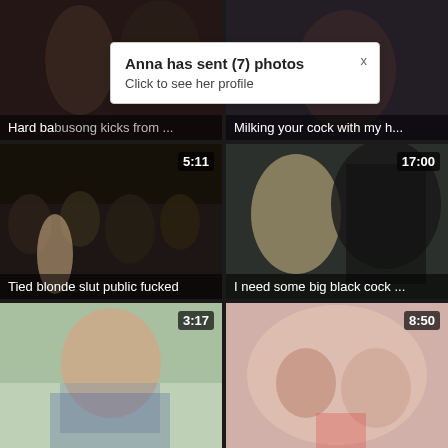[Figure (screenshot): Video thumbnail grid with popup notification. Row 1: two adult video thumbnails with captions 'Hard ba...busong kicks from ...' and 'Milking your cock with my h...'. Row 2: thumbnails with durations 5:11 'Tied blonde slut public fucked' and 17:00 'I need some big black cock ...'. Row 3: thumbnails with durations 3:17 and 8:50 (no captions visible). Popup overlay: 'Anna has sent (7) photos / Click to see her profile'.]